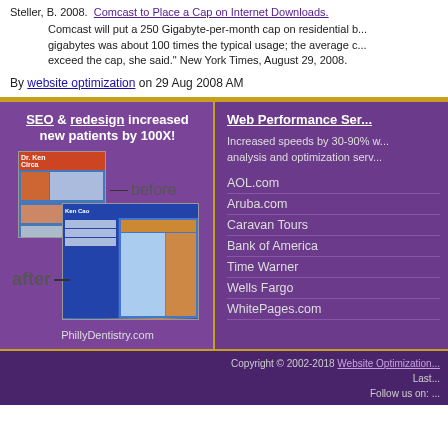Steller, B. 2008. "Comcast to Place a Cap on Internet Downloads." Comcast will put a 250 Gigabyte-per-month cap on residential broadband service... gigabytes was about 100 times the typical usage; the average customer... exceed the cap, she said." New York Times, August 29, 2008.
By website optimization on 29 Aug 2008 AM
SEO & redesign increased new patients by 100X!
[Figure (screenshot): Before and after website redesign comparison for PhillyDentistry.com showing old and new website designs]
PhillyDentistry.com
Web Performance Ser...
Increased speeds by 30-90% w... analysis and optimization serv...
AOL.com
Aruba.com
Caravan Tours
Bank of America
Time Warner
Wells Fargo
WhitePages.com
Copyright © 2002-2018 Website Optimization... Last... Follow us on: